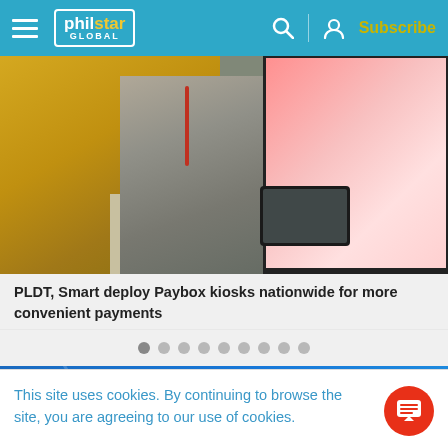philstar GLOBAL — Subscribe
[Figure (photo): Two people at a Paybox kiosk, one in yellow top, one in gray uniform with lanyard, using a tablet/payment device, with a screen on the right side.]
PLDT, Smart deploy Paybox kiosks nationwide for more convenient payments
[Figure (other): Carousel navigation dots, nine dots total, first dot is darker (active)]
[Figure (infographic): Advertisement banner for GAMES @ Philstar.com with text 'Always fun. Always free.' and PLAY NOW button]
This site uses cookies. By continuing to browse the site, you are agreeing to our use of cookies.